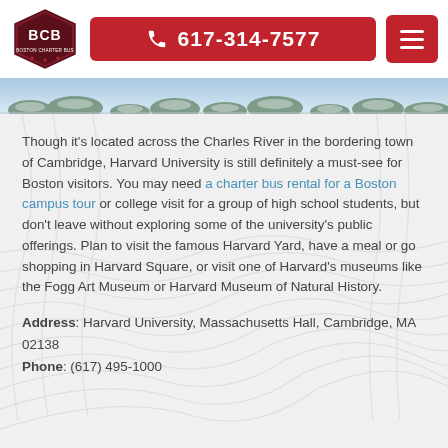BCB Boston Charter Bus | 617-314-7577
[Figure (photo): Partial photo strip showing treetops and blue sky, appearing at top of content area]
Though it's located across the Charles River in the bordering town of Cambridge, Harvard University is still definitely a must-see for Boston visitors. You may need a charter bus rental for a Boston campus tour or college visit for a group of high school students, but don't leave without exploring some of the university's public offerings. Plan to visit the famous Harvard Yard, have a meal or go shopping in Harvard Square, or visit one of Harvard's museums like the Fogg Art Museum or Harvard Museum of Natural History.
Address: Harvard University, Massachusetts Hall, Cambridge, MA 02138
Phone: (617) 495-1000